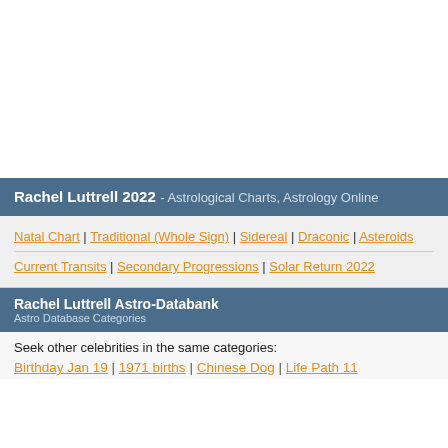Rachel Luttrell 2022 - Astrological Charts, Astrology Online
Natal Chart | Traditional (Whole Sign) | Sidereal | Draconic | Asteroids
Current Transits | Secondary Progressions | Solar Return 2022
Rachel Luttrell Astro-Databank
Astro Database Categories
Seek other celebrities in the same categories:
Birthday Jan 19 | 1971 births | Chinese Dog | Life Path 11